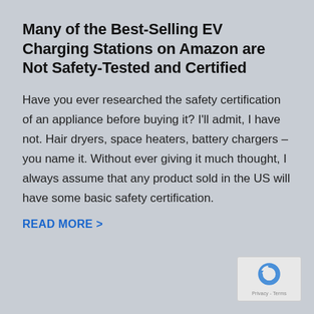Many of the Best-Selling EV Charging Stations on Amazon are Not Safety-Tested and Certified
Have you ever researched the safety certification of an appliance before buying it? I'll admit, I have not. Hair dryers, space heaters, battery chargers – you name it. Without ever giving it much thought, I always assume that any product sold in the US will have some basic safety certification.
READ MORE >
[Figure (logo): Google reCAPTCHA badge icon with Privacy and Terms text]